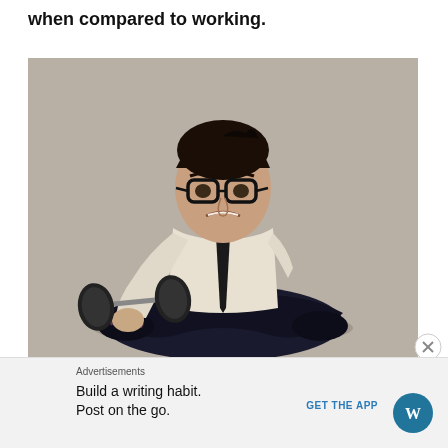when compared to working.
[Figure (photo): A man in a white dress shirt and dark tie, wearing thick-framed glasses, sitting cross-legged on the floor and straining to curl a dumbbell, grimacing with effort.]
Advertisements
Build a writing habit. Post on the go.
GET THE APP